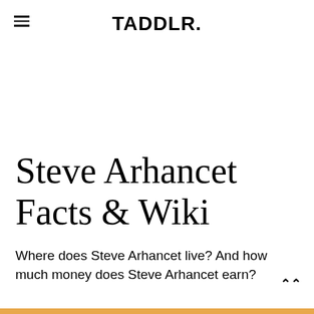TADDLR.
Steve Arhancet Facts & Wiki
Where does Steve Arhancet live? And how much money does Steve Arhancet earn?